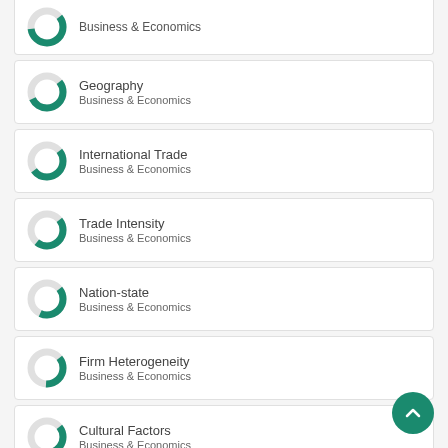Business & Economics (partial card top)
Geography — Business & Economics
International Trade — Business & Economics
Trade Intensity — Business & Economics
Nation-state — Business & Economics
Firm Heterogeneity — Business & Economics
Cultural Factors — Business & Economics